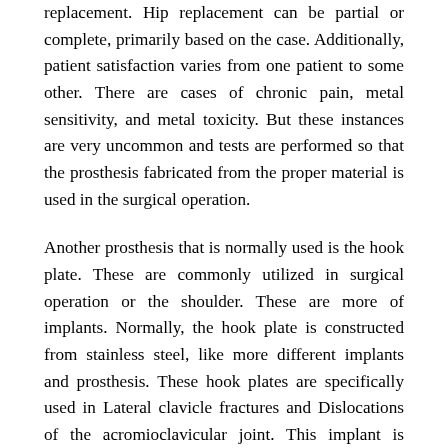replacement. Hip replacement can be partial or complete, primarily based on the case. Additionally, patient satisfaction varies from one patient to some other. There are cases of chronic pain, metal sensitivity, and metal toxicity. But these instances are very uncommon and tests are performed so that the prosthesis fabricated from the proper material is used in the surgical operation.
Another prosthesis that is normally used is the hook plate. These are commonly utilized in surgical operation or the shoulder. These are more of implants. Normally, the hook plate is constructed from stainless steel, like more different implants and prosthesis. These hook plates are specifically used in Lateral clavicle fractures and Dislocations of the acromioclavicular joint. This implant is however removed after the restoration is complete. Generally, the surgical procedure of the implant is simple. The step includes incision, Insertion, and Fixation. Siora Surgicals become the